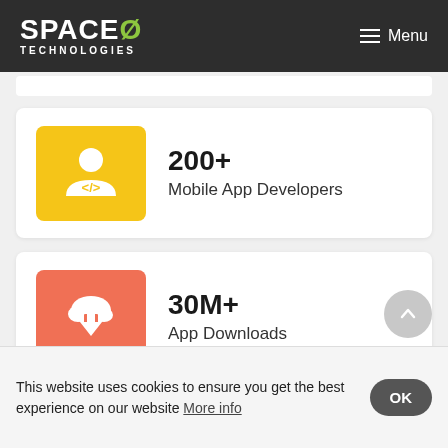SPACEØ TECHNOLOGIES — Menu
[Figure (infographic): Yellow icon box with person and code symbol representing mobile app developers]
200+
Mobile App Developers
[Figure (infographic): Orange icon box with cloud and download arrow representing app downloads]
30M+
App Downloads
[Figure (infographic): Partial purple icon box partially visible at bottom of page]
This website uses cookies to ensure you get the best experience on our website More info